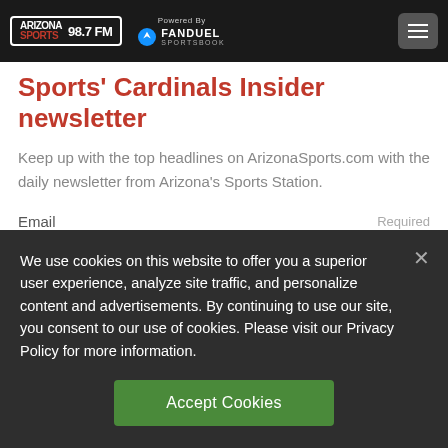Arizona Sports 98.7 FM — Powered By FanDuel Sportsbook
Sports' Cardinals Insider newsletter
Keep up with the top headlines on ArizonaSports.com with the daily newsletter from Arizona's Sports Station.
Email    Required
We use cookies on this website to offer you a superior user experience, analyze site traffic, and personalize content and advertisements. By continuing to use our site, you consent to our use of cookies. Please visit our Privacy Policy for more information.
Accept Cookies